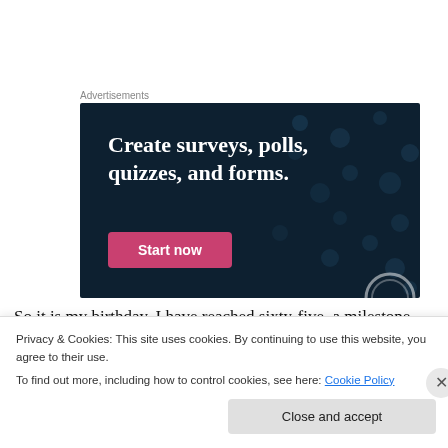Advertisements
[Figure (illustration): Advertisement banner with dark navy background and decorative dot pattern. Bold white serif text reads 'Create surveys, polls, quizzes, and forms.' with a pink 'Start now' button below.]
So it is my birthday, I have reached sixty-five, a milestone
Privacy & Cookies: This site uses cookies. By continuing to use this website, you agree to their use.
To find out more, including how to control cookies, see here: Cookie Policy
Close and accept